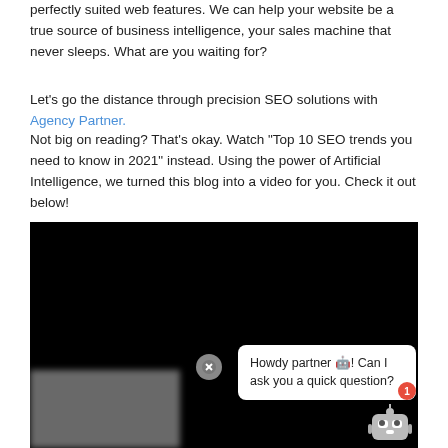perfectly suited web features. We can help your website be a true source of business intelligence, your sales machine that never sleeps. What are you waiting for?
Let's go the distance through precision SEO solutions with Agency Partner.
Not big on reading? That's okay. Watch "Top 10 SEO trends you need to know in 2021" instead. Using the power of Artificial Intelligence, we turned this blog into a video for you. Check it out below!
[Figure (screenshot): Embedded video player showing black screen with cookie consent banner overlay reading 'We Use Cookies.' with OK button, a chatbot popup saying 'Howdy partner! Can I ask you a quick question?', and a robot chatbot icon with red badge showing '1'.]